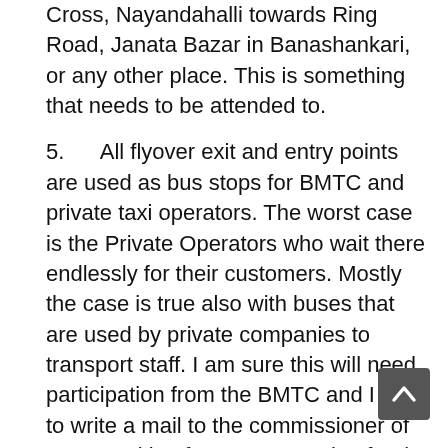Cross, Nayandahalli towards Ring Road, Janata Bazar in Banashankari, or any other place. This is something that needs to be attended to.
5.      All flyover exit and entry points are used as bus stops for BMTC and private taxi operators. The worst case is the Private Operators who wait there endlessly for their customers. Mostly the case is true also with buses that are used by private companies to transport staff. I am sure this will need participation from the BMTC and I plan to write a mail to the commissioner of BMTC asking for some attention for the above topics.
6.      In the stretch between the Kadirenahalli Underpass to Bannerghatta road junction you will see that at every 100 metres there is a cross road and unmanned traffic intersection which creates so much of confusion. There are indeed provisions at all such roads for people to opt to the right traffic controlled intersection, but letting the